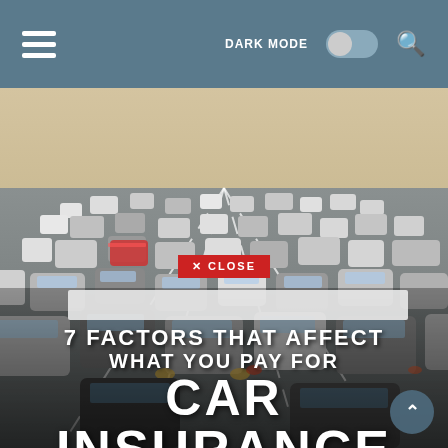≡  DARK MODE  🔍
[Figure (photo): Aerial/elevated view of a busy multi-lane highway filled with cars in heavy traffic, daytime, with highway markings visible]
✕ CLOSE
7 FACTORS THAT AFFECT WHAT YOU PAY FOR CAR INSURANCE